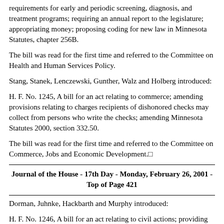requirements for early and periodic screening, diagnosis, and treatment programs; requiring an annual report to the legislature; appropriating money; proposing coding for new law in Minnesota Statutes, chapter 256B.
The bill was read for the first time and referred to the Committee on Health and Human Services Policy.
Stang, Stanek, Lenczewski, Gunther, Walz and Holberg introduced:
H. F. No. 1245, A bill for an act relating to commerce; amending provisions relating to charges recipients of dishonored checks may collect from persons who write the checks; amending Minnesota Statutes 2000, section 332.50.
The bill was read for the first time and referred to the Committee on Commerce, Jobs and Economic Development.□
Journal of the House - 17th Day - Monday, February 26, 2001 - Top of Page 421
Dorman, Juhnke, Hackbarth and Murphy introduced:
H. F. No. 1246, A bill for an act relating to civil actions; providing